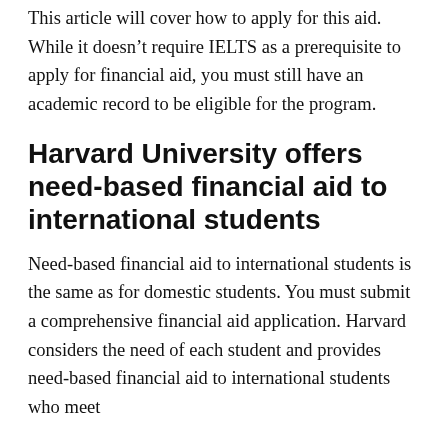This article will cover how to apply for this aid. While it doesn't require IELTS as a prerequisite to apply for financial aid, you must still have an academic record to be eligible for the program.
Harvard University offers need-based financial aid to international students
Need-based financial aid to international students is the same as for domestic students. You must submit a comprehensive financial aid application. Harvard considers the need of each student and provides need-based financial aid to international students who meet